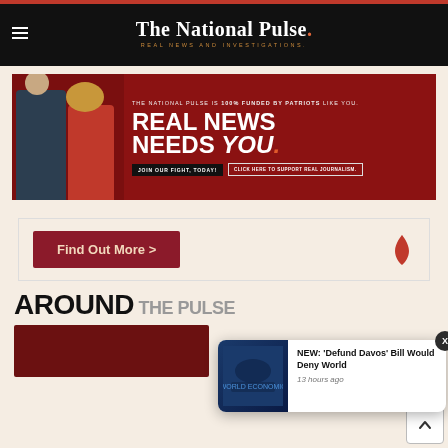The National Pulse. REAL NEWS AND INVESTIGATIONS.
[Figure (photo): The National Pulse advertisement banner: 'THE NATIONAL PULSE IS 100% FUNDED BY PATRIOTS LIKE YOU. REAL NEWS NEEDS you. JOIN OUR FIGHT, TODAY! CLICK HERE TO SUPPORT REAL JOURNALISM.' with two people (male in suit, female in red dress) on a dark red background.]
[Figure (other): Promotional box with 'Find Out More >' button and a flame icon on a cream/beige background.]
AROUND THE PULSE
[Figure (screenshot): Notification popup: 'NEW: Defund Davos Bill Would Deny World' with a blue-themed thumbnail image, timestamp '13 hours ago', and an X close button.]
[Figure (photo): Partial article thumbnail image in dark red at bottom of page.]